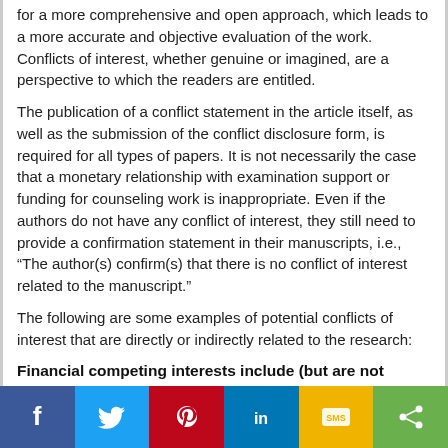for a more comprehensive and open approach, which leads to a more accurate and objective evaluation of the work. Conflicts of interest, whether genuine or imagined, are a perspective to which the readers are entitled.
The publication of a conflict statement in the article itself, as well as the submission of the conflict disclosure form, is required for all types of papers. It is not necessarily the case that a monetary relationship with examination support or funding for counseling work is inappropriate. Even if the authors do not have any conflict of interest, they still need to provide a confirmation statement in their manuscripts, i.e., “The author(s) confirm(s) that there is no conflict of interest related to the manuscript.”
The following are some examples of potential conflicts of interest that are directly or indirectly related to the research:
Financial competing interests include (but are not limited to):
Type of support/grant number
Institutional Conflicts of Interest
Funds received by the author
Funds received by the institution
Travel allowances for the research
[Figure (infographic): Social sharing bar with icons for Facebook, Twitter, Pinterest, LinkedIn, SMS, and Share]